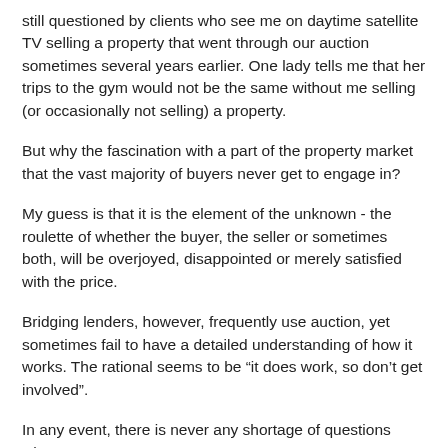still questioned by clients who see me on daytime satellite TV selling a property that went through our auction sometimes several years earlier. One lady tells me that her trips to the gym would not be the same without me selling (or occasionally not selling) a property.
But why the fascination with a part of the property market that the vast majority of buyers never get to engage in?
My guess is that it is the element of the unknown - the roulette of whether the buyer, the seller or sometimes both, will be overjoyed, disappointed or merely satisfied with the price.
Bridging lenders, however, frequently use auction, yet sometimes fail to have a detailed understanding of how it works. The rational seems to be “it does work, so don’t get involved”.
In any event, there is never any shortage of questions when